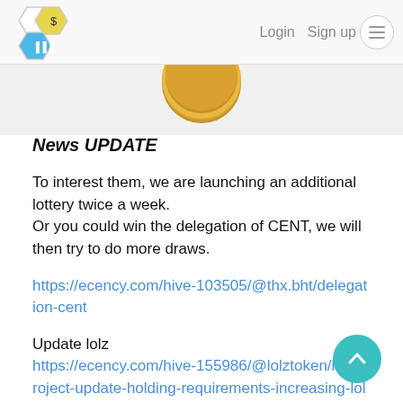Login  Sign up
[Figure (illustration): Bottom portion of a gold coin or token visible at top center of content area]
News UPDATE
To interest them, we are launching an additional lottery twice a week.
Or you could win the delegation of CENT, we will then try to do more draws.
https://ecency.com/hive-103505/@thx.bht/delegation-cent
Update lolz
https://ecency.com/hive-155986/@lolztoken/lolz-project-update-holding-requirements-increasing-lolz-defi-update-